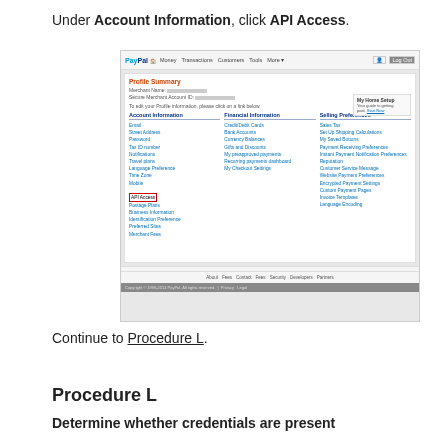Under Account Information, click API Access.
[Figure (screenshot): PayPal Profile Summary page screenshot showing Account Information section with API Access link highlighted in a red box. The page shows PayPal navigation bar at top, Profile Summary section with merchant info, and three columns: Account Information, Financial Information, and Selling Preferences with various links.]
Continue to Procedure L.
Procedure L
Determine whether credentials are present